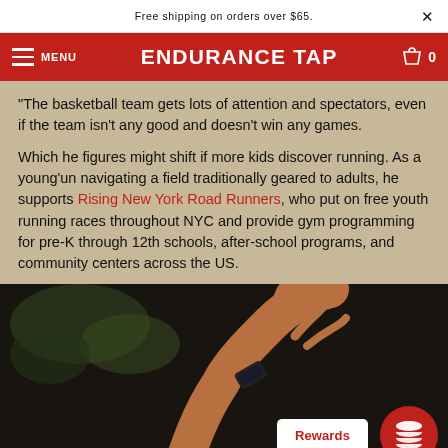Free shipping on orders over $65.
ENDURANCE TAP — MENU — 0
"The basketball team gets lots of attention and spectators, even if the team isn't any good and doesn't win any games.
Which he figures might shift if more kids discover running. As a young'un navigating a field traditionally geared to adults, he supports Rising New York Road Runners, who put on free youth running races throughout NYC and provide gym programming for pre-K through 12th schools, after-school programs, and community centers across the US.
[Figure (photo): A person raising their arm with a fitness tracker/watch visible against a dark background]